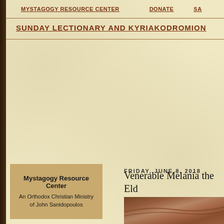MYSTAGOGY RESOURCE CENTER    DONATE    SA...
SUNDAY LECTIONARY AND KYRIAKODROMION
[Figure (logo): Mystagogy Resource Center logo box - An Orthodox Christian Ministry of John Sanidopoulos]
FRIDAY, JUNE 8, 2018
Venerable Melania the Eld...
[Figure (photo): Partial photo of an icon or religious image, partially cropped at bottom right]